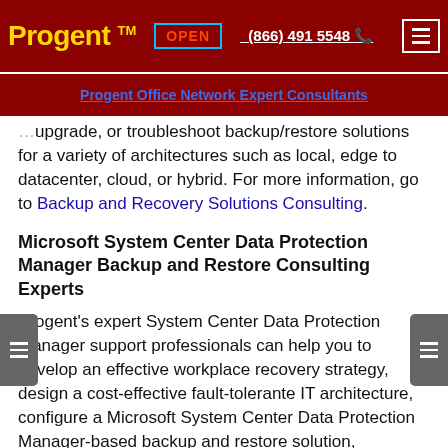Progent™  OPEN  (866) 491 5548  ☎
Progent Office Network Expert Consultants
Progent can assist your company to implement, upgrade, or troubleshoot backup/restore solutions for a variety of architectures such as local, edge to datacenter, cloud, or hybrid. For more information, go to Backup and Recovery Solutions Consulting.
Microsoft System Center Data Protection Manager Backup and Restore Consulting Experts
Progent's expert System Center Data Protection Manager support professionals can help you to develop an effective workplace recovery strategy, design a cost-effective fault-tolerante IT architecture, configure a Microsoft System Center Data Protection Manager-based backup and restore solution, comprehensively test your system, educate your administrative personnel or local